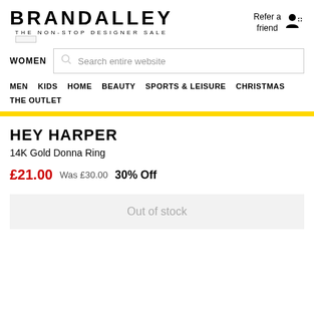[Figure (logo): BrandAlley logo with tagline 'THE NON-STOP DESIGNER SALE']
Refer a friend
WOMEN  Search entire website
MEN
KIDS
HOME
BEAUTY
SPORTS & LEISURE
CHRISTMAS
THE OUTLET
HEY HARPER
14K Gold Donna Ring
£21.00  Was £30.00  30% Off
Out of stock